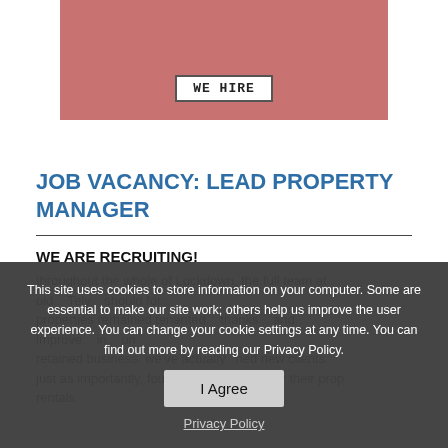[Figure (illustration): Pink/rose colored recruitment graphic with a white sign reading 'WE HIRE' at the top portion of the page]
JOB VACANCY: LEAD PROPERTY MANAGER
WE ARE RECRUITING!
throughout the whole of Lockdown, the full team at old... Tely... should for... properties remained tenanted... thanks... and... improve... in... un... retained business, we've actually... new clients... just as importantly, found quality tenants for their prop rentals.
This site uses cookies to store information on your computer. Some are essential to make our site work; others help us improve the user experience. You can change your cookie settings at any time. You can find out more by reading our Privacy Policy.
I Agree
Privacy Policy